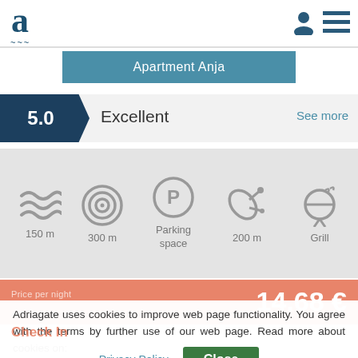Adriagate logo header with user and menu icons
Apartment Anja
5.0  Excellent  See more
[Figure (infographic): Five amenity icons: waves (150 m), target/circle (300 m), parking P circle (Parking space), satellite dish (200 m), grill (Grill)]
14.68 €
Adriagate uses cookies to improve web page functionality. You agree with the terms by further use of our web page. Read more about cookies on:
Check In
Privacy Policy  Close